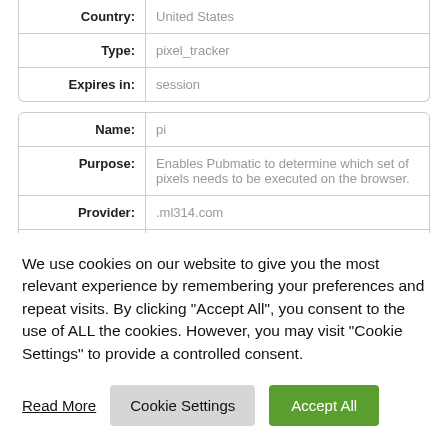| Field | Value |
| --- | --- |
| Country: | United States |
| Type: | pixel_tracker |
| Expires in: | session |
| Field | Value |
| --- | --- |
| Name: | pi |
| Purpose: | Enables Pubmatic to determine which set of pixels needs to be executed on the browser. |
| Provider: | .ml314.com |
| Service: | Pubmatic View Service Privacy Policy |
We use cookies on our website to give you the most relevant experience by remembering your preferences and repeat visits. By clicking "Accept All", you consent to the use of ALL the cookies. However, you may visit "Cookie Settings" to provide a controlled consent.
Read More
Cookie Settings
Accept All